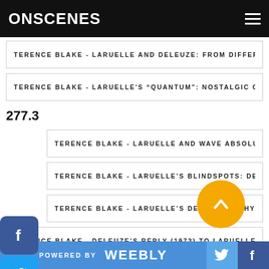ONSCENES
TERENCE BLAKE - LARUELLE AND DELEUZE: FROM DIFFER...
TERENCE BLAKE - LARUELLE'S "QUANTUM": NOSTALGIC OBS...
277.3
TERENCE BLAKE - LARUELLE AND WAVE ABSOLUTISM: AGAIN...
TERENCE BLAKE - LARUELLE'S BLINDSPOTS: DELEUZE ON STY...
TERENCE BLAKE - LARUELLE'S DE-PHILOSOPHY: CONFIRMAT...
TERENCE BLAKE - DELEUZE'S REPLY (1973) TO LARUELLE'S CR...
POWERED BY weebly